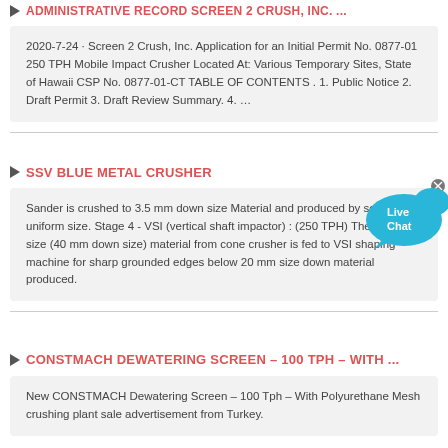ADMINISTRATIVE RECORD SCREEN 2 CRUSH, INC. ...
2020-7-24 · Screen 2 Crush, Inc. Application for an Initial Permit No. 0877-01 250 TPH Mobile Impact Crusher Located At: Various Temporary Sites, State of Hawaii CSP No. 0877-01-CT TABLE OF CONTENTS . 1. Public Notice 2. Draft Permit 3. Draft Review Summary. 4. …
SSV BLUE METAL CRUSHER
Sander is crushed to 3.5 mm down size Material and produced by screen, in uniform size. Stage 4 - VSI (vertical shaft impactor) : (250 TPH) The reduced size (40 mm down size) material from cone crusher is fed to VSI shaping machine for sharp grounded edges below 20 mm size down material produced.
CONSTMACH DEWATERING SCREEN – 100 TPH – WITH ...
New CONSTMACH Dewatering Screen – 100 Tph – With Polyurethane Mesh crushing plant sale advertisement from Turkey. See price and ...